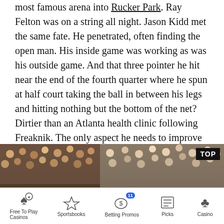most famous arena into Rucker Park. Ray Felton was on a string all night. Jason Kidd met the same fate. He penetrated, often finding the open man. His inside game was working as was his outside game. And that three pointer he hit near the end of the fourth quarter where he spun at half court taking the ball in between his legs and hitting nothing but the bottom of the net? Dirtier than an Atlanta health clinic following Freaknik. The only aspect he needs to improve is defense, the same trait another previous Cleveland #1 overall pick improved upon from his rookie season making him one of the most fierce defensive specimens in basketball.
[Figure (photo): Basketball player in Cleveland Cavaliers uniform dribbling during a game, with crowd in background. TOP badge in upper right corner.]
[Figure (infographic): BetRivers.net Social Casino Promo advertisement bar: Daily Rewards up to 10k VC$]
[Figure (infographic): Bottom navigation bar with icons: Free To Play Casinos, Sportsbooks, Betting Promos (with badge 11), Picks, Casino]